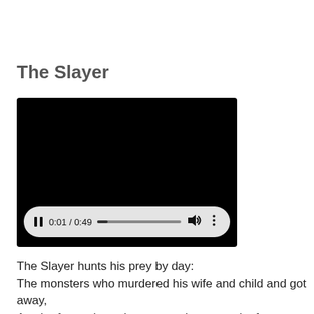The Slayer
[Figure (screenshot): A video player showing a black screen with playback controls. The controls show a pause button, time display '0:01 / 0:49', a progress bar, a volume icon, and a more options icon.]
The Slayer hunts his prey by day:
The monsters who murdered his wife and child and got away,
A pair of parasites whose ceaseless appetite for human flesh